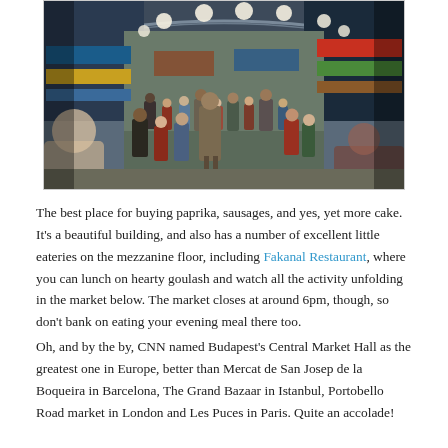[Figure (photo): Interior of Budapest's Central Market Hall, a large indoor market with a high arched roof, hanging globe lights, vendors on both sides, and crowds of people walking through. Colorful signs and storefronts line the hall.]
The best place for buying paprika, sausages, and yes, yet more cake. It's a beautiful building, and also has a number of excellent little eateries on the mezzanine floor, including Fakanal Restaurant, where you can lunch on hearty goulash and watch all the activity unfolding in the market below. The market closes at around 6pm, though, so don't bank on eating your evening meal there too.
Oh, and by the by, CNN named Budapest's Central Market Hall as the greatest one in Europe, better than Mercat de San Josep de la Boqueira in Barcelona, The Grand Bazaar in Istanbul, Portobello Road market in London and Les Puces in Paris. Quite an accolade!